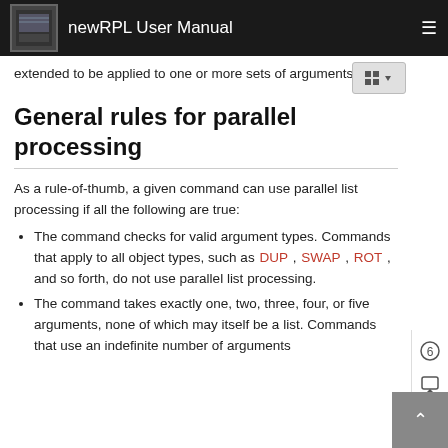newRPL User Manual
extended to be applied to one or more sets of arguments.
General rules for parallel processing
As a rule-of-thumb, a given command can use parallel list processing if all the following are true:
The command checks for valid argument types. Commands that apply to all object types, such as DUP, SWAP, ROT, and so forth, do not use parallel list processing.
The command takes exactly one, two, three, four, or five arguments, none of which may itself be a list. Commands that use an indefinite number of arguments